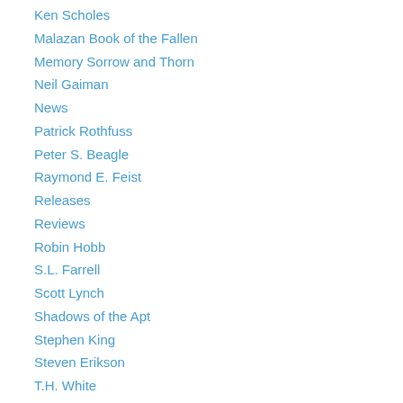Ken Scholes
Malazan Book of the Fallen
Memory Sorrow and Thorn
Neil Gaiman
News
Patrick Rothfuss
Peter S. Beagle
Raymond E. Feist
Releases
Reviews
Robin Hobb
S.L. Farrell
Scott Lynch
Shadows of the Apt
Stephen King
Steven Erikson
T.H. White
Tad Williams
The Cloudmages
The Codex Alera